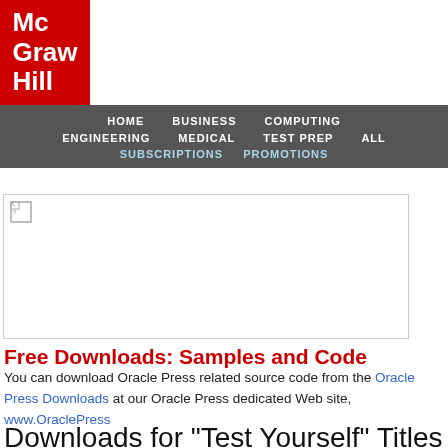[Figure (logo): McGraw Hill logo: white bold text on red background reading Mc Graw Hill]
HOME   BUSINESS   COMPUTING   ENGINEERING   MEDICAL   TEST PREP   ALL   SUBSCRIPTIONS   PROMOTIONS
[Figure (photo): Broken image placeholder]
Free Downloads: Samples and Code
You can download Oracle Press related source code from the Oracle Press Downloads at our Oracle Press dedicated Web site, www.OraclePress
Downloads for "Test Yourself" Titles